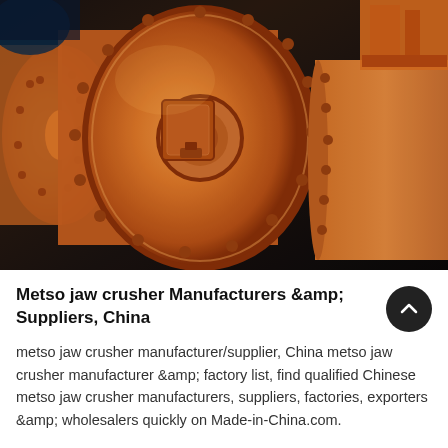[Figure (photo): Industrial orange-painted ball mill grinding machines photographed in a factory setting. Large cylindrical drums with bolted flanges and covers are prominently visible, painted in bright orange.]
Metso jaw crusher Manufacturers &amp; Suppliers, China
metso jaw crusher manufacturer/supplier, China metso jaw crusher manufacturer &amp; factory list, find qualified Chinese metso jaw crusher manufacturers, suppliers, factories, exporters &amp; wholesalers quickly on Made-in-China.com.